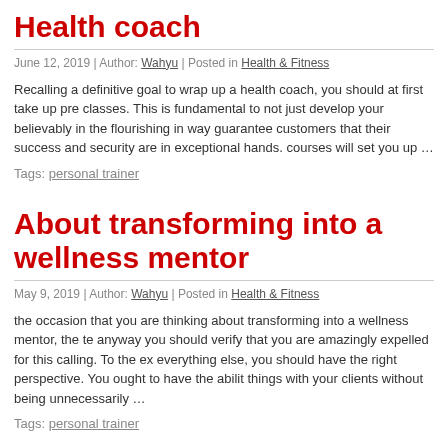Health coach
June 12, 2019 | Author: Wahyu | Posted in Health & Fitness
Recalling a definitive goal to wrap up a health coach, you should at first take up pre classes. This is fundamental to not just develop your believably in the flourishing in way guarantee customers that their success and security are in exceptional hands. courses will set you up …
Tags: personal trainer
About transforming into a wellness mentor
May 9, 2019 | Author: Wahyu | Posted in Health & Fitness
the occasion that you are thinking about transforming into a wellness mentor, the te anyway you should verify that you are amazingly expelled for this calling. To the ex everything else, you should have the right perspective. You ought to have the abilit things with your clients without being unnecessarily …
Tags: personal trainer